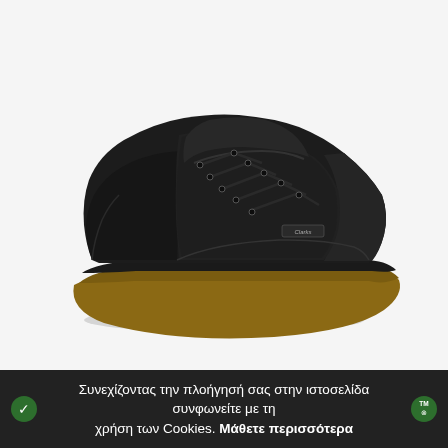[Figure (photo): A black sneaker/casual shoe with tan/gum rubber sole, displayed on white background. The shoe has dark laces, suede-like black upper material, and a brand tag on the side. Shot from a three-quarter angle showing the left side.]
Συνεχίζοντας την πλοήγησή σας στην ιστοσελίδα συνφωνείτε με τη χρήση των Cookies. Μάθετε περισσότερα